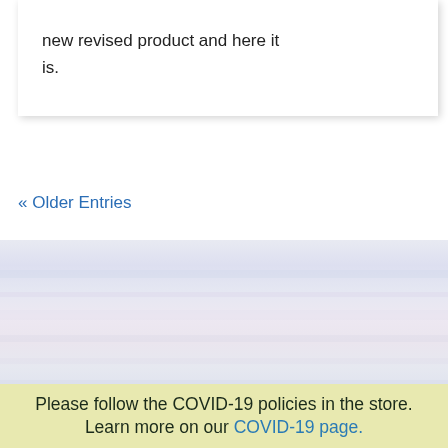new revised product and here it is.
« Older Entries
[Figure (illustration): Soft gradient background image with pastel lavender, pink, and blue horizontal bands suggesting a sky or abstract background.]
Please follow the COVID-19 policies in the store. Learn more on our COVID-19 page.